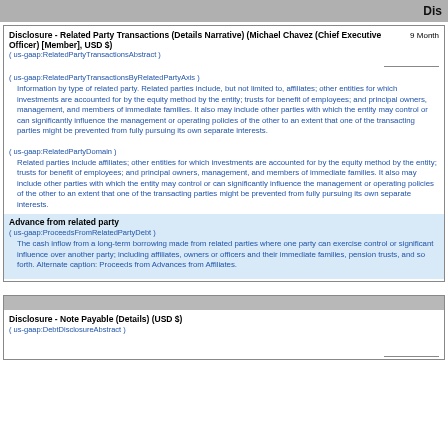Dis
Disclosure - Related Party Transactions (Details Narrative) (Michael Chavez (Chief Executive Officer) [Member], USD $)
( us-gaap:RelatedPartyTransactionsAbstract )
9 Month
( us-gaap:RelatedPartyTransactionsByRelatedPartyAxis )
Information by type of related party. Related parties include, but not limited to, affiliates; other entities for which investments are accounted for by the equity method by the entity; trusts for benefit of employees; and principal owners, management, and members of immediate families. It also may include other parties with which the entity may control or can significantly influence the management or operating policies of the other to an extent that one of the transacting parties might be prevented from fully pursuing its own separate interests.
( us-gaap:RelatedPartyDomain )
Related parties include affiliates; other entities for which investments are accounted for by the equity method by the entity; trusts for benefit of employees; and principal owners, management, and members of immediate families. It also may include other parties with which the entity may control or can significantly influence the management or operating policies of the other to an extent that one of the transacting parties might be prevented from fully pursuing its own separate interests.
Advance from related party
( us-gaap:ProceedsFromRelatedPartyDebt )
The cash inflow from a long-term borrowing made from related parties where one party can exercise control or significant influence over another party; including affiliates, owners or officers and their immediate families, pension trusts, and so forth. Alternate caption: Proceeds from Advances from Affiliates.
Disclosure - Note Payable (Details) (USD $)
( us-gaap:DebtDisclosureAbstract )